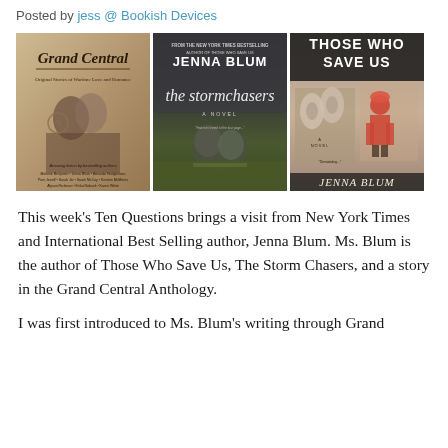Posted by jess @ Bookish Devices
[Figure (illustration): Three book covers side by side: Grand Central (Original Stories of Wartime Love and Romance), The Stormchasers by Jenna Blum (a novel), and Those Who Save Us by Jenna Blum (a novel).]
This week’s Ten Questions brings a visit from New York Times and International Best Selling author, Jenna Blum. Ms. Blum is the author of Those Who Save Us, The Storm Chasers, and a story in the Grand Central Anthology.
I was first introduced to Ms. Blum’s writing through Grand Central...